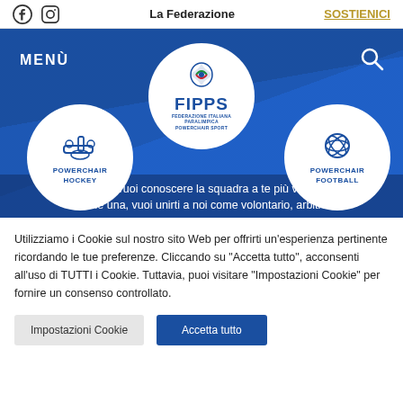La Federazione | SOSTIENICI
[Figure (screenshot): FIPPS website hero section with blue background, FIPPS logo circle in center, Powerchair Hockey circle on left, Powerchair Football circle on right, MENÙ label top-left, search icon top-right]
Sei curioso, vuoi conoscere la squadra a te più vicina, vuoi crearne una, vuoi unirti a noi come volontario, arbitro o
Utilizziamo i Cookie sul nostro sito Web per offrirti un'esperienza pertinente ricordando le tue preferenze. Cliccando su "Accetta tutto", acconsenti all'uso di TUTTI i Cookie. Tuttavia, puoi visitare "Impostazioni Cookie" per fornire un consenso controllato.
Impostazioni Cookie
Accetta tutto